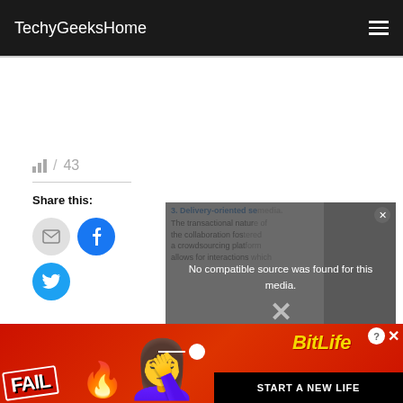TechyGeeksHome
43
Share this:
[Figure (screenshot): Email share button (circular grey)]
[Figure (screenshot): Facebook share button (circular blue)]
[Figure (screenshot): Twitter share button (circular light blue)]
[Figure (screenshot): Video overlay with message: No compatible source was found for this media. Article excerpt: 3. Delivery-oriented se... The transactional natur... the collaboration fostr... a crowdsourcing platf... allows for interactions which...]
[Figure (screenshot): BitLife advertisement banner at bottom: FAIL, START A NEW LIFE]